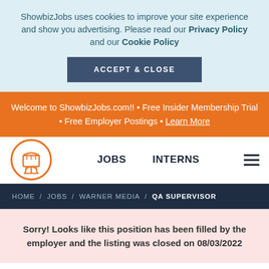ShowbizJobs uses cookies to improve your site experience and show you advertising. Please read our Privacy Policy and our Cookie Policy
ACCEPT & CLOSE
Welcome to ShowbizJobs.com!! • Free Insider Membership Trial • Free Employer Postings • Learn More
JOBS   INTERNS
HOME / JOBS / WARNER MEDIA / QA SUPERVISOR
Sorry! Looks like this position has been filled by the employer and the listing was closed on 08/03/2022